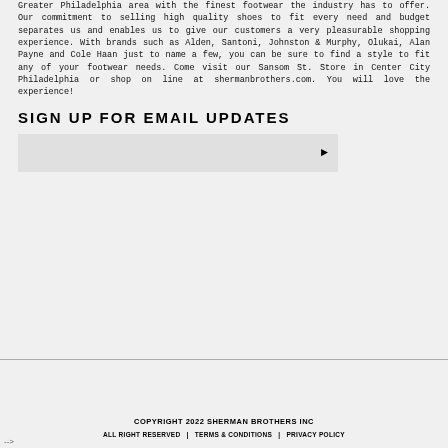Greater Philadelphia area with the finest footwear the industry has to offer. Our commitment to selling high quality shoes to fit every need and budget separates us and enables us to give our customers a very pleasurable shopping experience. With brands such as Alden, Santoni, Johnston & Murphy, Olukai, Alan Payne and Cole Haan just to name a few, you can be sure to find a style to fit any of your footwear needs. Come visit our Sansom St. Store in Center City Philadelphia or shop on line at shermanbrothers.com. You will love the experience!
SIGN UP FOR EMAIL UPDATES
[Figure (other): Email input box with right-arrow submit button on light gray background]
COPYRIGHT 2022 SHERMAN BROTHERS INC
ALL RIGHT RESERVED | TERMS & CONDITIONS | PRIVACY POLICY